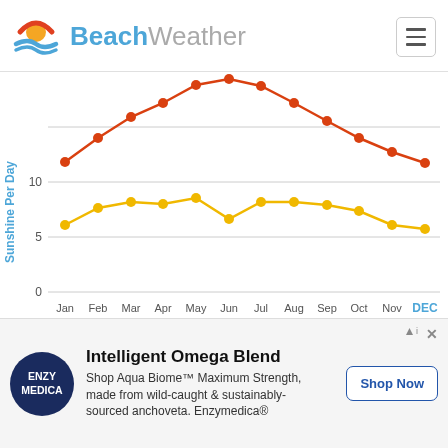BeachWeather
[Figure (line-chart): Sunshine Per Day]
The average day light hours per day in Old Orchard Beach in December are 9 and there are 4.5 hours of sunshine per day on average during December making
[Figure (infographic): Advertisement banner for Enzymedica Intelligent Omega Blend featuring ENZY MEDICA logo, text about Aqua Biome Maximum Strength, and Shop Now button]